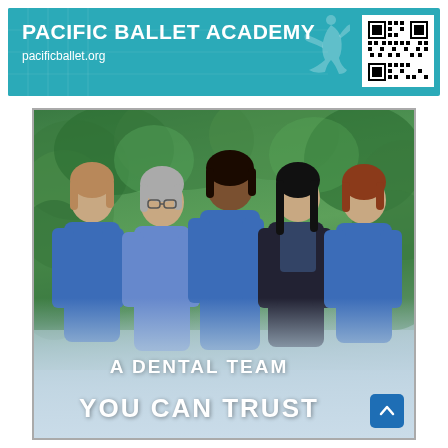[Figure (logo): Pacific Ballet Academy banner with teal background, organization name in bold white, website URL pacificballet.org, dancer silhouette graphic, and QR code]
[Figure (photo): Advertisement for a dental team showing five women in blue scrubs/professional attire standing outdoors in front of green foliage, with text overlay 'A DENTAL TEAM YOU CAN TRUST' at the bottom]